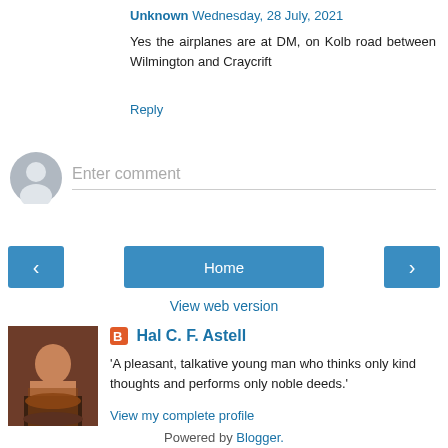Unknown Wednesday, 28 July, 2021
Yes the airplanes are at DM, on Kolb road between Wilmington and Craycrift
Reply
[Figure (illustration): Default user avatar circle, gray silhouette]
Enter comment
< Home >
View web version
[Figure (photo): Profile photo of Hal C. F. Astell, a man with long red beard]
Hal C. F. Astell
'A pleasant, talkative young man who thinks only kind thoughts and performs only noble deeds.'
View my complete profile
Powered by Blogger.